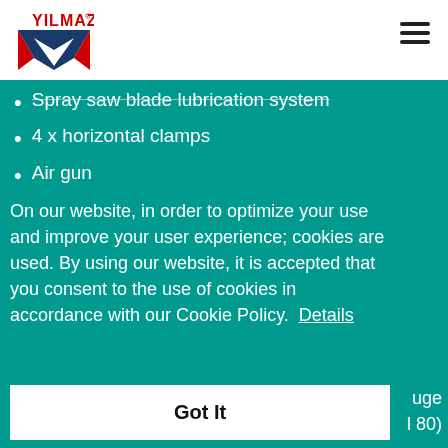YILMAZ
Spray saw blade lubrication system
4 x horizontal clamps
Air gun
On our website, in order to optimize your use and improve your user experience; cookies are used. By using our website, it is accepted that you consent to the use of cookies in accordance with our Cookie Policy.  Details
Got It
GENERAL FEATURES